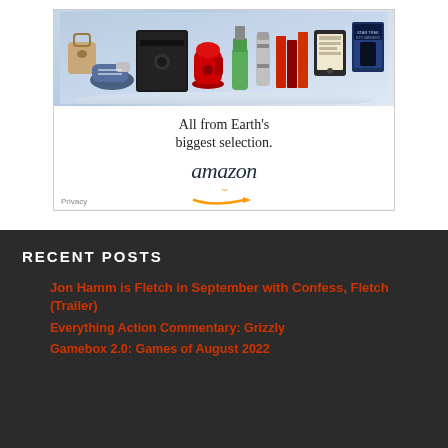[Figure (advertisement): Amazon advertisement showing various products (handbag, shoes, PlayStation console, KitchenAid mixer, smoothie, thermos, books, Kindle, Star Trek movie) with text 'All from Earth's biggest selection.' and Amazon logo with orange arrow]
RECENT POSTS
Jon Hamm is Fletch in September with Confess, Fletch (Trailer)
Everything Action Commentary: Grizzly
Gamebox 2.0: Games of August 2022